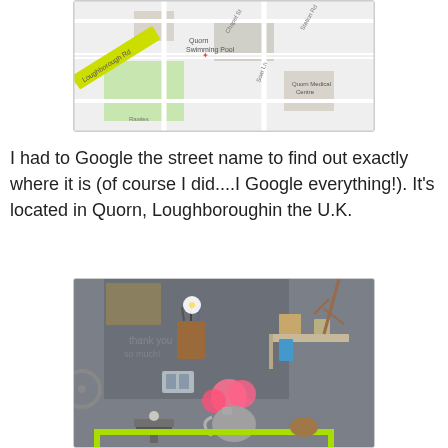[Figure (map): Google Maps screenshot showing Quorn area with Loughborough Rd highlighted in yellow, Quorn Swimming Pool marker, Quorn Medical Centre label, and Rawles label]
I had to Google the street name to find out exactly where it is (of course I did....I Google everything!).  It's located in Quorn, Loughboroughin the U.K.
[Figure (photo): Interior photo of a vintage/rustic display area with a chalkboard wall, mason jar with pencils and flowers, hanging shelf with items, pink flowers in a pitcher, old scale, teapot, and a neon yellow-green framed cart/shelf]